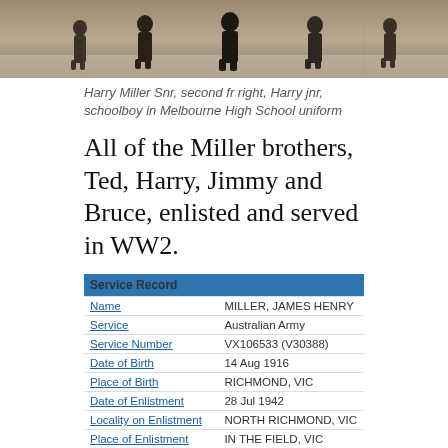[Figure (photo): Black and white historical photograph showing several people, including Harry Miller Snr second from right and Harry jnr in Melbourne High School uniform]
Harry Miller Snr, second fr right, Harry jnr, schoolboy in Melbourne High School uniform
All of the Miller brothers, Ted, Harry, Jimmy and Bruce, enlisted and served in WW2.
| Service Record |  |
| --- | --- |
| Name | MILLER, JAMES HENRY |
| Service | Australian Army |
| Service Number | VX106533 (V30388) |
| Date of Birth | 14 Aug 1916 |
| Place of Birth | RICHMOND, VIC |
| Date of Enlistment | 28 Jul 1942 |
| Locality on Enlistment | NORTH RICHMOND, VIC |
| Place of Enlistment | IN THE FIELD, VIC |
| Next of Kin | MILLER, JEAN |
| Date of Discharge | 1 Feb 1946 |
| Rank | Private |
| Posting at Discharge | 4 FIELD AMBULANCE |
| WW2 Honours and Gallantry | None for display |
| Prisoner of War | No |